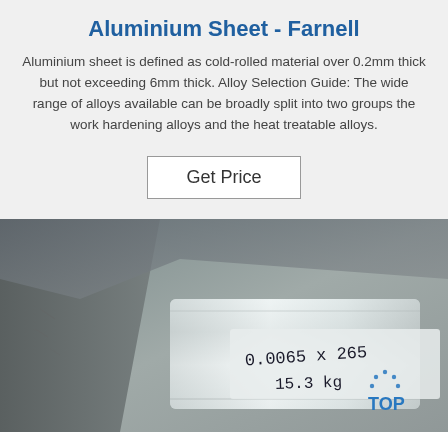Aluminium Sheet - Farnell
Aluminium sheet is defined as cold-rolled material over 0.2mm thick but not exceeding 6mm thick. Alloy Selection Guide: The wide range of alloys available can be broadly split into two groups the work hardening alloys and the heat treatable alloys.
Get Price
[Figure (photo): Photo of a roll of aluminium sheet with handwritten label '0.0065 X 265' and '15.3 kg', with a 'TOP' logo visible in the bottom right corner.]